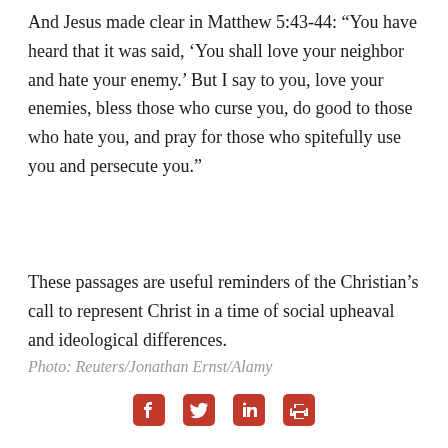And Jesus made clear in Matthew 5:43-44: “You have heard that it was said, ‘You shall love your neighbor and hate your enemy.’ But I say to you, love your enemies, bless those who curse you, do good to those who hate you, and pray for those who spitefully use you and persecute you.”
These passages are useful reminders of the Christian’s call to represent Christ in a time of social upheaval and ideological differences.
Photo: Reuters/Jonathan Ernst/Alamy
[Figure (infographic): Social sharing icons: Facebook, Twitter, LinkedIn, Print]